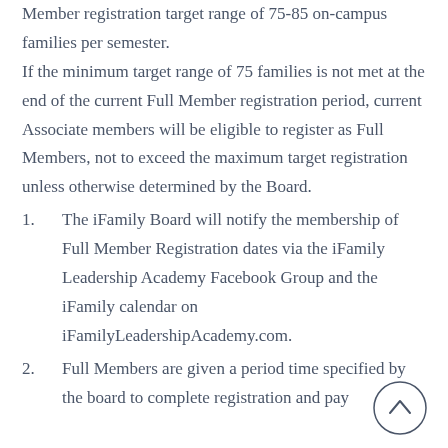Member registration target range of 75-85 on-campus families per semester. If the minimum target range of 75 families is not met at the end of the current Full Member registration period, current Associate members will be eligible to register as Full Members, not to exceed the maximum target registration unless otherwise determined by the Board.
1. The iFamily Board will notify the membership of Full Member Registration dates via the iFamily Leadership Academy Facebook Group and the iFamily calendar on iFamilyLeadershipAcademy.com.
2. Full Members are given a period time specified by the board to complete registration and pay